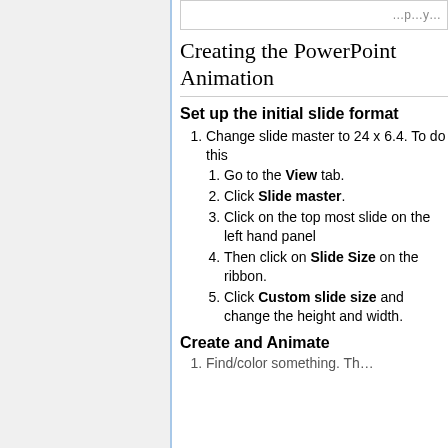Creating the PowerPoint Animation
Set up the initial slide format
Change slide master to 24 x 6.4. To do this
Go to the View tab.
Click Slide master.
Click on the top most slide on the left hand panel
Then click on Slide Size on the ribbon.
Click Custom slide size and change the height and width.
Create and Animate
Find/color something. The…